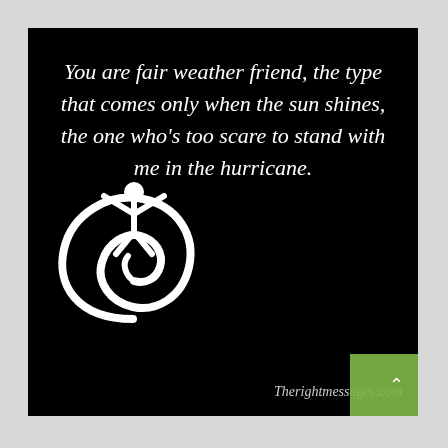[Figure (infographic): Black square card with italic white quote text and a white stylized hurricane/person logo in the lower left, plus a website watermark and green box in the lower right corner.]
You are fair weather friend, the type that comes only when the sun shines, the one who's too scare to stand with me in the hurricane.
Therightmessages.com